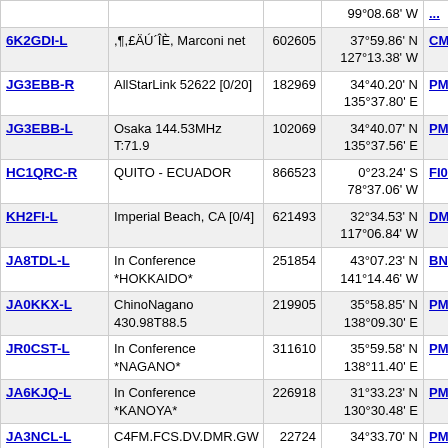| Callsign | Description | ID | Coordinates | Grid | Freq |
| --- | --- | --- | --- | --- | --- |
|  |  |  | 99°08.68' W |  |  |
| 6K2GDI-L | ,¶,£ÄÚ´ÎÈ, Marconi net | 602605 | 37°59.86' N 127°13.38' W | CM67jx | 604 |
| JG3EBB-R | AllStarLink 52622 [0/20] | 182969 | 34°40.20' N 135°37.80' E | PM74tq | 605 |
| JG3EBB-L | Osaka 144.53MHz T:71.9 | 102069 | 34°40.07' N 135°37.56' E | PM74tq | 605 |
| HC1QRC-R | QUITO - ECUADOR | 866523 | 0°23.24' S 78°37.06' W | FI09qo | 605 |
| KH2FI-L | Imperial Beach, CA [0/4] | 621493 | 32°34.53' N 117°06.84' W | DM12kn | 605 |
| JA8TDL-L | In Conference *HOKKAIDO* | 251854 | 43°07.23' N 141°14.46' W | BN93jc | 605 |
| JA0KKX-L | ChinoNagano 430.98T88.5 | 219905 | 35°58.85' N 138°09.30' E | PM95bx | 605 |
| JR0CST-L | In Conference *NAGANO* | 311610 | 35°59.58' N 138°11.40' E | PM95cx | 605 |
| JA6KJQ-L | In Conference *KANOYA* | 226918 | 31°33.23' N 130°30.48' E | PM51gn | 605 |
| JA3NCL-L | C4FM.FCS.DV.DMR.GW(5) | 22724 | 34°33.70' N 135°42.36' E | PM74un | 606 |
| JF2ANH-L | [Svx] Nagoya Japan (4) | 500972 | 35°06.65' N 136°55.14' E | PM85lc | 606 |
| JA7HZF-L | iwaki 430.77 C4FM/05-05 | 554804 | 37°00.00' N 140°49.98' E | QM07ja | 607 |
| BX2AEK-R | Taipei, Taiwan #6688 | 6688 | 25°01.76' N | PL05sa | 607 |